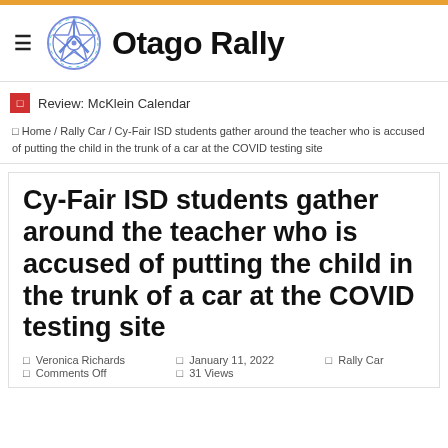[Figure (logo): Otago Rally website header with hamburger menu, wheel/star logo, and site title 'Otago Rally']
Review: McKlein Calendar
Home / Rally Car / Cy-Fair ISD students gather around the teacher who is accused of putting the child in the trunk of a car at the COVID testing site
Cy-Fair ISD students gather around the teacher who is accused of putting the child in the trunk of a car at the COVID testing site
Veronica Richards  January 11, 2022  Rally Car  Comments Off  31 Views